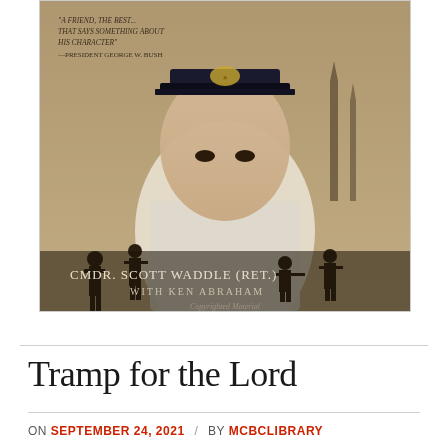[Figure (photo): Book cover showing Cmdr. Scott Waddle (Ret.) with Ken Abraham. Features a military officer in uniform against a dramatic background with silhouetted soldiers. Text on cover includes a quote from President George W. Bush and the authors' names. Also shows 'Copyrighted Material' watermark.]
Tramp for the Lord
ON SEPTEMBER 24, 2021 / BY MCBCLIBRARY